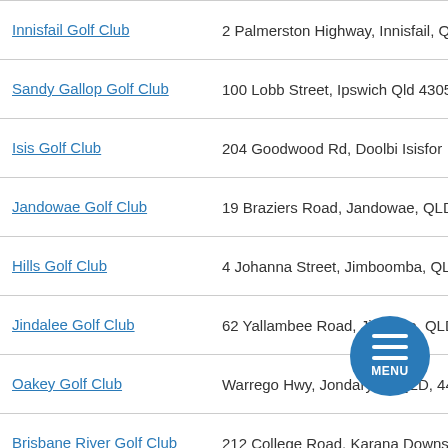Innisfail Golf Club | 2 Palmerston Highway, Innisfail, Q...
Sandy Gallop Golf Club | 100 Lobb Street, Ipswich Qld 4305
Isis Golf Club | 204 Goodwood Rd, Doolbi Isisfore...
Jandowae Golf Club | 19 Braziers Road, Jandowae, QLD
Hills Golf Club | 4 Johanna Street, Jimboomba, QL...
Jindalee Golf Club | 62 Yallambee Road, Jindalee, QLD
Oakey Golf Club | Warrego Hwy, Jondaryan, QLD, 44...
Brisbane River Golf Club | 212 College Road, Karana Downs,...
Keperra Country Golf Club | 44 Duggan Street, Keperra, QLD,...
Paradise Palms Resort | Paradise Palms Drive, Kewarra Be...
Kilcoy Golf Club | 53 Carseldine Street, ..., QLD,...
Kilkivan Golf Club | 45 Tansey Road, Kilkivan, QLD...